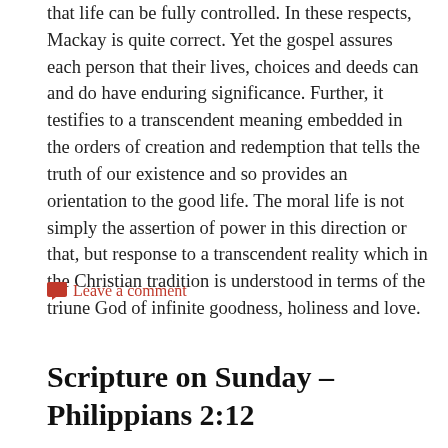that life can be fully controlled. In these respects, Mackay is quite correct. Yet the gospel assures each person that their lives, choices and deeds can and do have enduring significance. Further, it testifies to a transcendent meaning embedded in the orders of creation and redemption that tells the truth of our existence and so provides an orientation to the good life. The moral life is not simply the assertion of power in this direction or that, but response to a transcendent reality which in the Christian tradition is understood in terms of the triune God of infinite goodness, holiness and love.
Leave a comment
Scripture on Sunday – Philippians 2:12